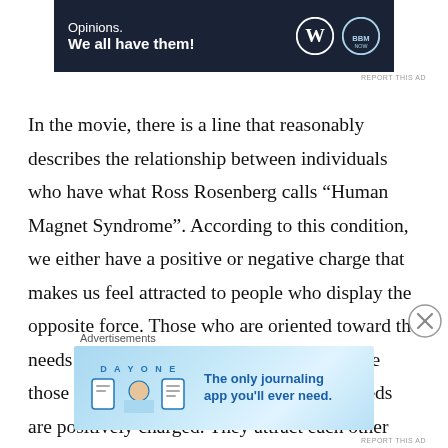[Figure (other): Advertisement banner with dark navy background showing 'Opinions. We all have them!' with WordPress and BBM logos]
In the movie, there is a line that reasonably describes the relationship between individuals who have what Ross Rosenberg calls “Human Magnet Syndrome”. According to this condition, we either have a positive or negative charge that makes us feel attracted to people who display the opposite force. Those who are oriented toward the needs of others are negatively charged, while those who are oriented toward their own needs are positively charged. They attract each other mostly through an unconscious process and they often lock
Advertisements
[Figure (other): Day One journaling app advertisement with light blue background, icons and text 'The only journaling app you’ll ever need.']